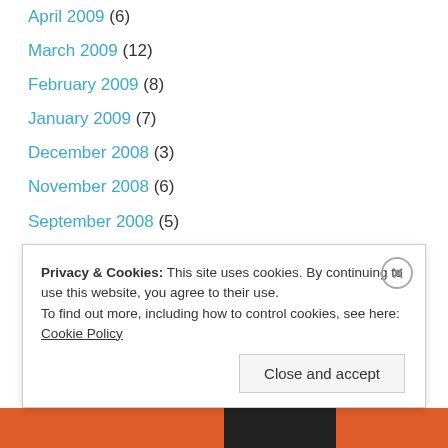April 2009 (6)
March 2009 (12)
February 2009 (8)
January 2009 (7)
December 2008 (3)
November 2008 (6)
September 2008 (5)
June 2008 (1)
May 2008 (2)
Privacy & Cookies: This site uses cookies. By continuing to use this website, you agree to their use. To find out more, including how to control cookies, see here: Cookie Policy
Close and accept